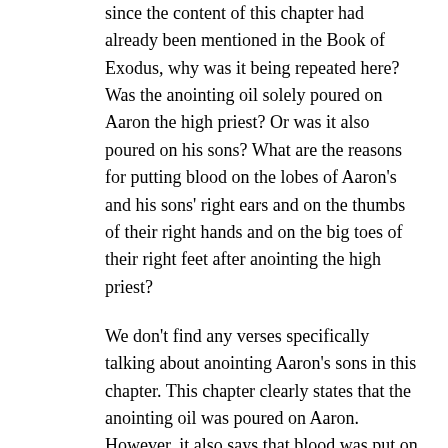since the content of this chapter had already been mentioned in the Book of Exodus, why was it being repeated here? Was the anointing oil solely poured on Aaron the high priest? Or was it also poured on his sons? What are the reasons for putting blood on the lobes of Aaron's and his sons' right ears and on the thumbs of their right hands and on the big toes of their right feet after anointing the high priest?
We don't find any verses specifically talking about anointing Aaron's sons in this chapter. This chapter clearly states that the anointing oil was poured on Aaron. However, it also says that blood was put on the lobes of Aaron's and his sons' right ears and on the thumbs of their right hands and on the big toes of their right feet. We think that this is about a transfer of responsibility. This was the very first moment when the Lord gave the Ten Commandments to Moses and met him in glory at the mercy seat where blood was poured (Numbers 7:89). In this chapter, it was Moses who anointed Aaron, and